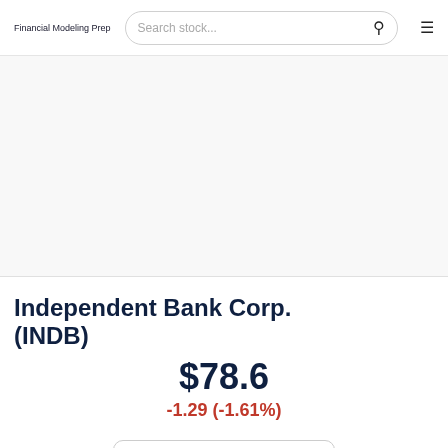Financial Modeling Prep
Independent Bank Corp. (INDB)
$78.6
-1.29 (-1.61%)
Add to Favorites